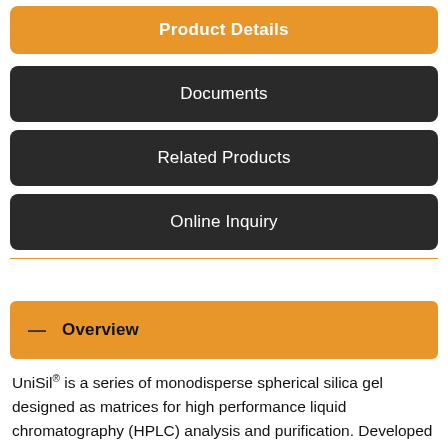Product Details
Documents
Related Products
Online Inquiry
Overview
UniSil® is a series of monodisperse spherical silica gel designed as matrices for high performance liquid chromatography (HPLC) analysis and purification. Developed by Suzhou NanoMicro with its unique patented technology, all UniSil® products have distinct